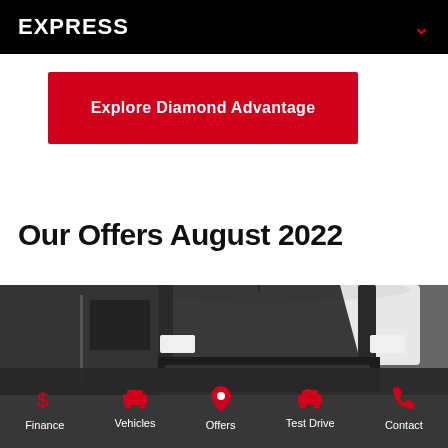EXPRESS
Explore Diamond Advantage
Our Offers August 2022
[Figure (photo): Front view of a white/black van (Mitsubishi Express) partially visible at bottom of page]
Finance | Vehicles | Offers | Test Drive | Contact